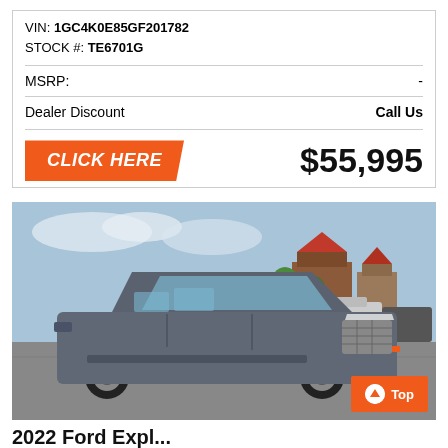VIN: 1GC4K0E85GF201782
STOCK #: TE6701G
MSRP: -
Dealer Discount    Call Us
CLICK HERE    $55,995
[Figure (photo): Gray Ford Explorer SUV photographed in a parking lot, front three-quarter view, with buildings and trees in the background. Orange 'Top' button in lower right corner.]
2022 Ford Expl...